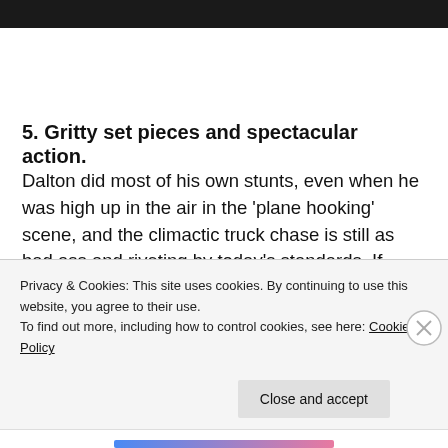[Figure (photo): Dark/black image or header bar at top of page]
5. Gritty set pieces and spectacular action.
Dalton did most of his own stunts, even when he was high up in the air in the ‘plane hooking’ scene, and the climactic truck chase is still as bad ass and riveting by today’s standards. If
Privacy & Cookies: This site uses cookies. By continuing to use this website, you agree to their use.
To find out more, including how to control cookies, see here: Cookie Policy
Close and accept